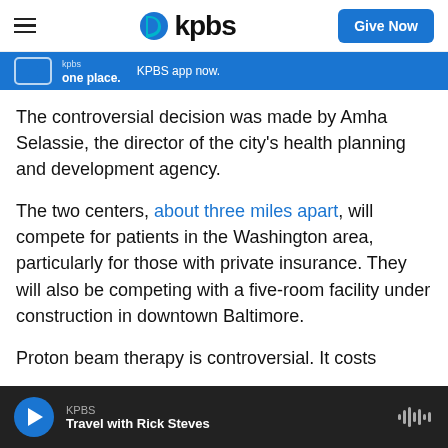KPBS — Give Now
[Figure (screenshot): KPBS blue promotional app banner showing 'KPBS in one place. KPBS app now.']
The controversial decision was made by Amha Selassie, the director of the city's health planning and development agency.
The two centers, about three miles apart, will compete for patients in the Washington area, particularly for those with private insurance. They will also be competing with a five-room facility under construction in downtown Baltimore.
Proton beam therapy is controversial. It costs
KPBS — Travel with Rick Steves